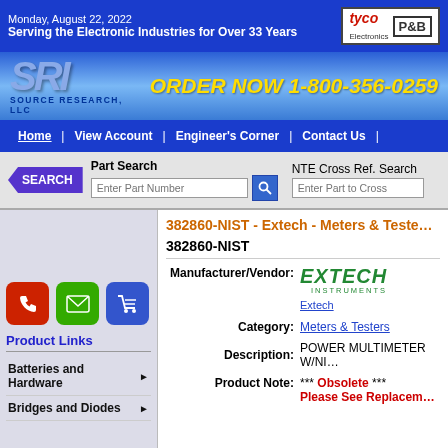Monday, August 22, 2022
Serving the Electronic Industries for Over 33 Years
[Figure (logo): Tyco Electronics P&B logo]
[Figure (logo): SRI Source Research LLC logo]
ORDER NOW 1-800-356-0259
Home | View Account | Engineer's Corner | Contact Us
Part Search | NTE Cross Ref. Search
382860-NIST - Extech - Meters & Testers
382860-NIST
Manufacturer/Vendor: EXTECH INSTRUMENTS
Category: Meters & Testers
Description: POWER MULTIMETER W/N...
Product Note: *** Obsolete *** Please See Replacement...
Product Links
Batteries and Hardware
Bridges and Diodes